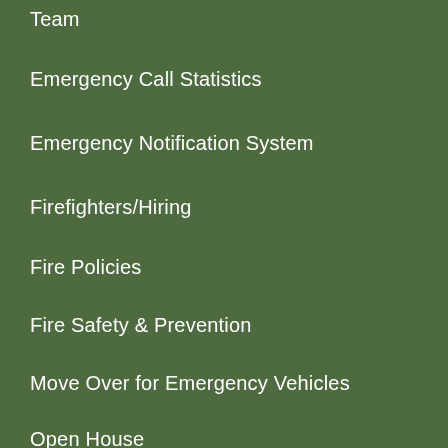Team
Emergency Call Statistics
Emergency Notification System
Firefighters/Hiring
Fire Policies
Fire Safety & Prevention
Move Over for Emergency Vehicles
Open House
Resources for Business